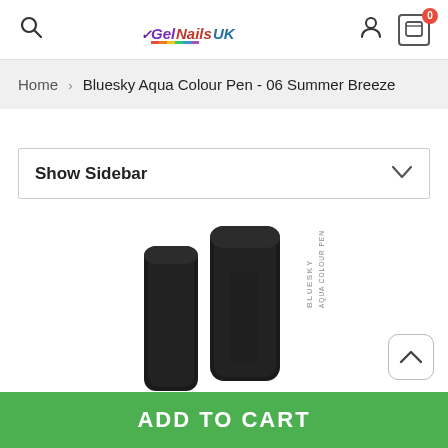GelNailsUK — Search, User, Cart (0)
Home › Bluesky Aqua Colour Pen - 06 Summer Breeze
Show Sidebar
[Figure (photo): Two black cylindrical Bluesky Aqua Colour Pen products, one standing upright showing the label and one at a slight angle, on a white background.]
ADD TO CART